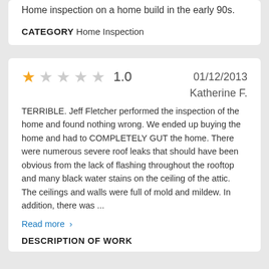Home inspection on a home build in the early 90s.
CATEGORY Home Inspection
1.0   01/12/2013   Katherine F.
TERRIBLE. Jeff Fletcher performed the inspection of the home and found nothing wrong. We ended up buying the home and had to COMPLETELY GUT the home. There were numerous severe roof leaks that should have been obvious from the lack of flashing throughout the rooftop and many black water stains on the ceiling of the attic. The ceilings and walls were full of mold and mildew. In addition, there was …
Read more >
DESCRIPTION OF WORK